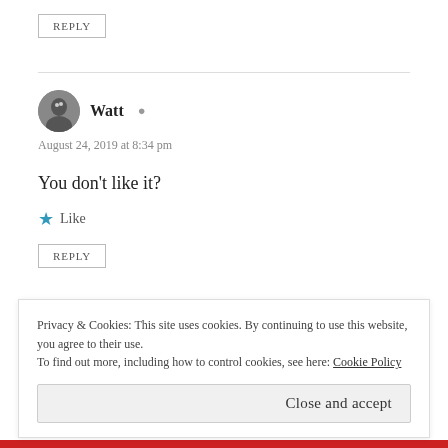REPLY
Watt
August 24, 2019 at 8:34 pm
You don't like it?
Like
REPLY
Privacy & Cookies: This site uses cookies. By continuing to use this website, you agree to their use. To find out more, including how to control cookies, see here: Cookie Policy
Close and accept